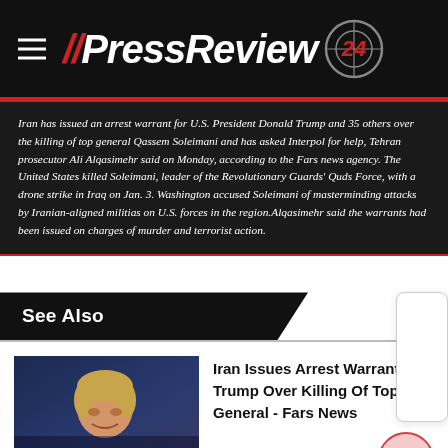//PressReview 24
Iran has issued an arrest warrant for U.S. President Donald Trump and 35 others over the killing of top general Qassem Soleimani and has asked Interpol for help, Tehran prosecutor Ali Alqasimehr said on Monday, according to the Fars news agency. The United States killed Soleimani, leader of the Revolutionary Guards' Quds Force, with a drone strike in Iraq on Jan. 3. Washington accused Soleimani of masterminding attacks by Iranian-aligned militias on U.S. forces in the region.Alqasimehr said the warrants had been issued on charges of murder and terrorist action.
See Also
[Figure (photo): Photo of Donald Trump at a podium]
Iran Issues Arrest Warrant For Trump Over Killing Of Top General - Fars News